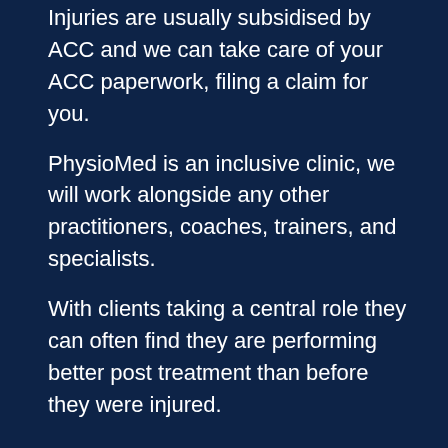Injuries are usually subsidised by ACC and we can take care of your ACC paperwork, filing a claim for you.
PhysioMed is an inclusive clinic, we will work alongside any other practitioners, coaches, trainers, and specialists.
With clients taking a central role they can often find they are performing better post treatment than before they were injured.
Treatment may also cover:
X-rays or scan referral.